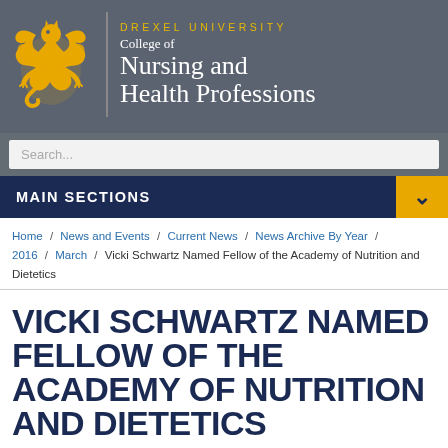[Figure (logo): Drexel University College of Nursing and Health Professions logo with golden dragon and text on grey background]
Search...
MAIN SECTIONS
Home / News and Events / Current News / News Archive By Year / 2016 / March / Vicki Schwartz Named Fellow of the Academy of Nutrition and Dietetics
VICKI SCHWARTZ NAMED FELLOW OF THE ACADEMY OF NUTRITION AND DIETETICS